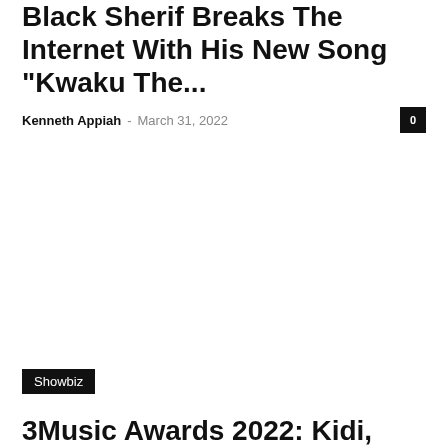Black Sherif Breaks The Internet With His New Song “Kwaku The...
Kenneth Appiah – March 31, 2022
[Figure (photo): Article image placeholder (white/blank)]
Showbiz
3Music Awards 2022: Kidi, Black Sherif, Sarkodie Wins Big On The...
Kenneth Appiah – March 27, 2022